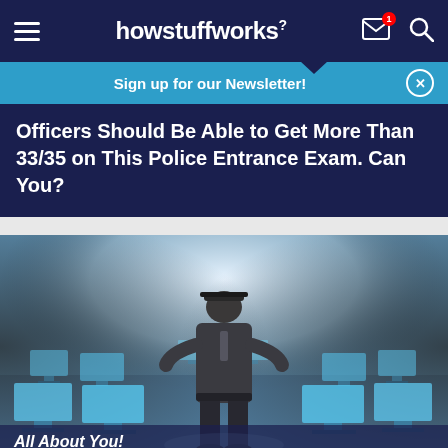howstuffworks
Sign up for our Newsletter!
Officers Should Be Able to Get More Than 33/35 on This Police Entrance Exam. Can You?
[Figure (photo): A silhouette of a police officer standing in a room full of rows of computer monitors with blue glowing screens, viewed from a low angle with a bright light source behind the officer.]
All About You!